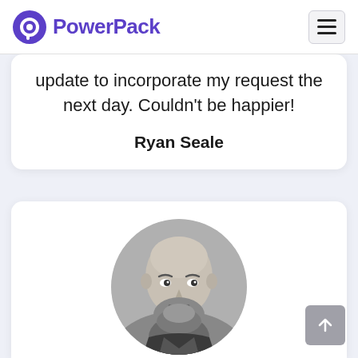PowerPack
update to incorporate my request the next day. Couldn't be happier!
Ryan Seale
[Figure (photo): Black and white circular portrait photo of a bald man with a beard]
Ultra Powerful content design options